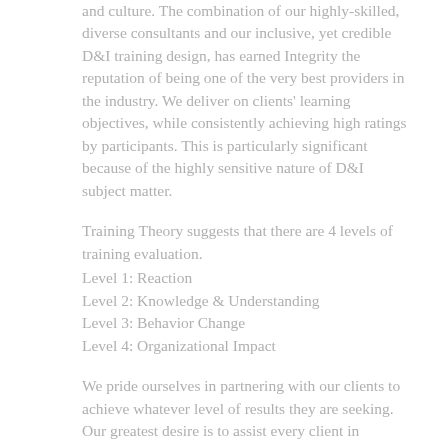and culture. The combination of our highly-skilled, diverse consultants and our inclusive, yet credible D&I training design, has earned Integrity the reputation of being one of the very best providers in the industry. We deliver on clients' learning objectives, while consistently achieving high ratings by participants. This is particularly significant because of the highly sensitive nature of D&I subject matter.
Training Theory suggests that there are 4 levels of training evaluation.
Level 1: Reaction
Level 2: Knowledge & Understanding
Level 3: Behavior Change
Level 4: Organizational Impact
We pride ourselves in partnering with our clients to achieve whatever level of results they are seeking. Our greatest desire is to assist every client in creating the healthiest workplace environment possible. We have the tools necessary to assist clients in gaining meaningful business results through their initiative initiatives.